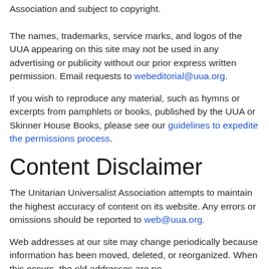Association and subject to copyright. The names, trademarks, service marks, and logos of the UUA appearing on this site may not be used in any advertising or publicity without our prior express written permission. Email requests to webeditorial@uua.org.
If you wish to reproduce any material, such as hymns or excerpts from pamphlets or books, published by the UUA or Skinner House Books, please see our guidelines to expedite the permissions process.
Content Disclaimer
The Unitarian Universalist Association attempts to maintain the highest accuracy of content on its website. Any errors or omissions should be reported to web@uua.org.
Web addresses at our site may change periodically because information has been moved, deleted, or reorganized. When this occurs, the old addresses are no